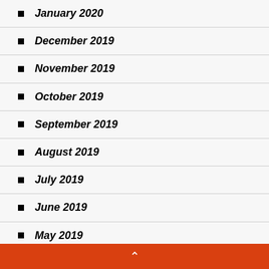January 2020
December 2019
November 2019
October 2019
September 2019
August 2019
July 2019
June 2019
May 2019
^